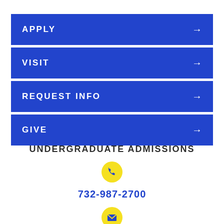APPLY →
VISIT →
REQUEST INFO →
GIVE →
UNDERGRADUATE ADMISSIONS
732-987-2700
E-mail Us